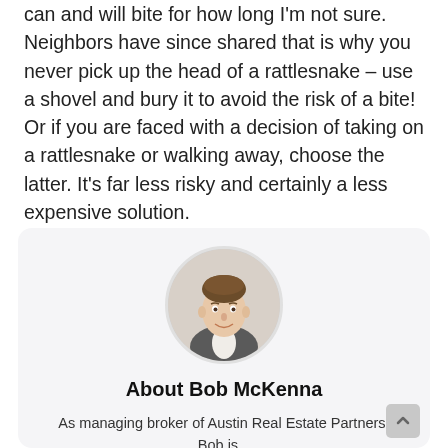can and will bite for how long I'm not sure. Neighbors have since shared that is why you never pick up the head of a rattlesnake – use a shovel and bury it to avoid the risk of a bite! Or if you are faced with a decision of taking on a rattlesnake or walking away, choose the latter. It's far less risky and certainly a less expensive solution.
[Figure (photo): Circular headshot photo of Bob McKenna, a man in a suit, smiling]
About Bob McKenna
As managing broker of Austin Real Estate Partners, Bob is...